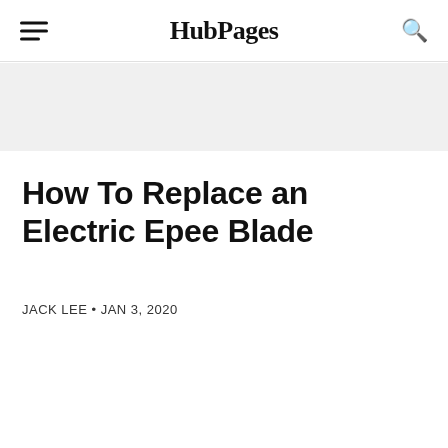HubPages
How To Replace an Electric Epee Blade
JACK LEE • JAN 3, 2020